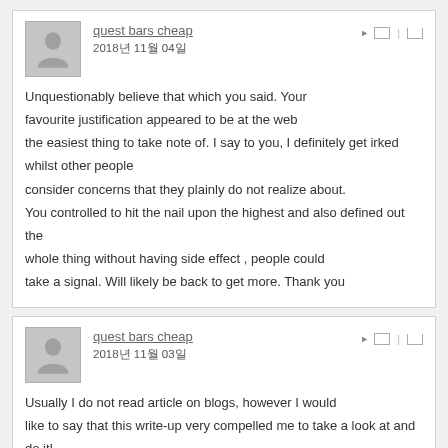quest bars cheap
2018년 11월 04일
Unquestionably believe that which you said. Your favourite justification appeared to be at the web the easiest thing to take note of. I say to you, I definitely get irked whilst other people consider concerns that they plainly do not realize about. You controlled to hit the nail upon the highest and also defined out the whole thing without having side effect , people could take a signal. Will likely be back to get more. Thank you
quest bars cheap
2018년 11월 03일
Usually I do not read article on blogs, however I would like to say that this write-up very compelled me to take a look at and do it!